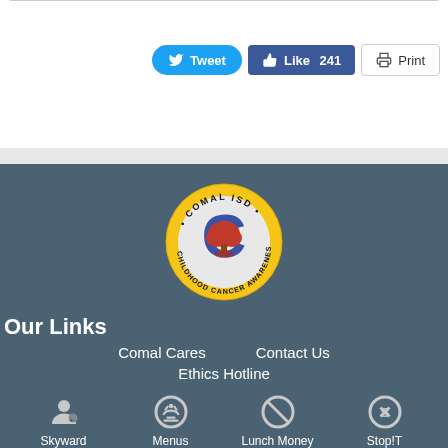[Figure (other): Social sharing buttons: Tweet (blue pill), Like 241 (Facebook blue), Print (outlined)]
[Figure (logo): Comal ISD Childhood Cancer Awareness circular logo with yellow border, blue C, red tree on white center]
Our Links
Comal Cares
Contact Us
Ethics Hotline
Skyward
Menus
Lunch Money
Stop!T